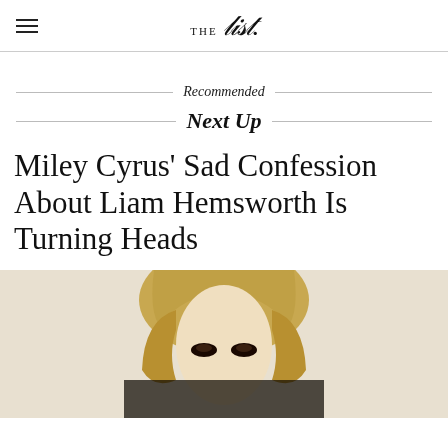THE List.
Recommended
Next Up
Miley Cyrus' Sad Confession About Liam Hemsworth Is Turning Heads
[Figure (photo): Photo of a blonde woman with bangs, cropped at the top of the frame]